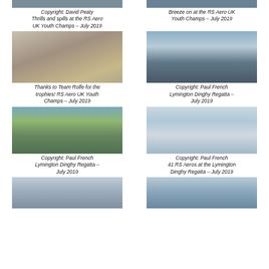[Figure (photo): Cropped top of sailing photo (RS Aero UK Youth Champs)]
[Figure (photo): Cropped top of sailing photo (RS Aero UK Youth Champs)]
Copyright: David Peaty Thrills and spills at the RS Aero UK Youth Champs - July 2019
Breeze on at the RS Aero UK Youth Champs - July 2019
[Figure (photo): Trophy photo - trophies on white cloth, RS Aero UK Youth Champs]
Thanks to Team Rolfe for the trophies! RS Aero UK Youth Champs - July 2019
[Figure (photo): Sailing race photo - dinghies with GBR markings, Lymington Dinghy Regatta]
Copyright: Paul French Lymington Dinghy Regatta - July 2019
[Figure (photo): Boats on shore/beach, masts up, sunny day, Lymington Dinghy Regatta]
Copyright: Paul French Lymington Dinghy Regatta - July 2019
[Figure (photo): Fleet of RS Aeros racing on water, Lymington Dinghy Regatta]
Copyright: Paul French 41 RS Aeros at the Lymington Dinghy Regatta - July 2019
[Figure (photo): RS Aero sailing boats at start, numbers visible including GBR, 2427]
[Figure (photo): RS Aero sailing on open water with hills in background]